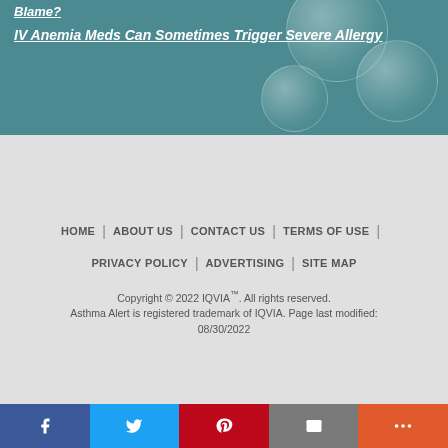[Figure (illustration): Teal/blue-green header background with translucent bubble decorations]
Blame?
IV Anemia Meds Can Sometimes Trigger Severe Allergy
HOME | ABOUT US | CONTACT US | TERMS OF USE | PRIVACY POLICY | ADVERTISING | SITE MAP
Copyright © 2022 IQVIA™. All rights reserved. Asthma Alert is registered trademark of IQVIA. Page last modified: 08/30/2022
[Figure (infographic): Social share bar with Facebook, Twitter, Pinterest, Email, and More buttons]